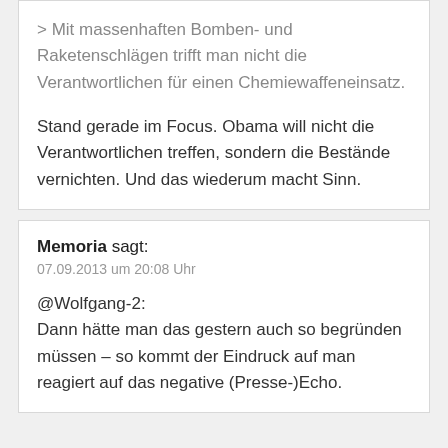> Mit massenhaften Bomben- und Raketenschlägen trifft man nicht die Verantwortlichen für einen Chemiewaffeneinsatz.
Stand gerade im Focus. Obama will nicht die Verantwortlichen treffen, sondern die Bestände vernichten. Und das wiederum macht Sinn.
Memoria sagt:
07.09.2013 um 20:08 Uhr
@Wolfgang-2:
Dann hätte man das gestern auch so begründen müssen – so kommt der Eindruck auf man reagiert auf das negative (Presse-)Echo.